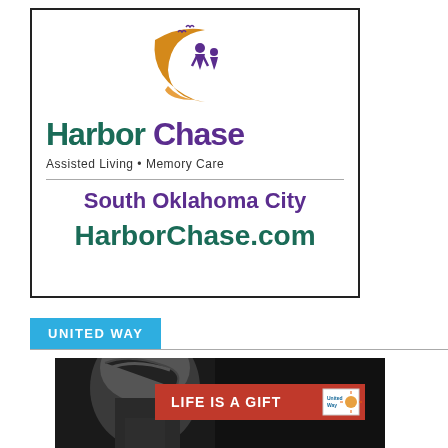[Figure (logo): HarborChase Assisted Living Memory Care advertisement with crescent logo, teal and purple branding, South Oklahoma City, HarborChase.com]
UNITED WAY
[Figure (photo): Black and white close-up photo of a person's face/head with United Way 'LIFE IS A GIFT' red banner overlay with United Way logo]